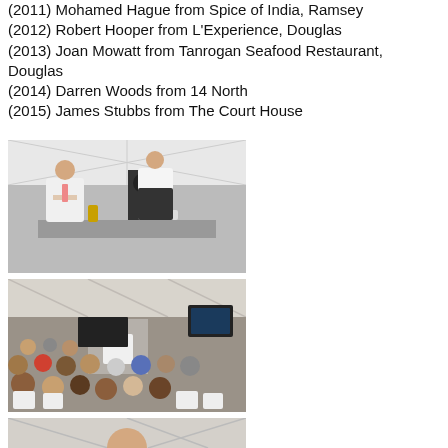(2011) Mohamed Hague from Spice of India, Ramsey
(2012) Robert Hooper from L'Experience, Douglas
(2013) Joan Mowatt from Tanrogan Seafood Restaurant, Douglas
(2014) Darren Woods from 14 North
(2015) James Stubbs from The Court House
[Figure (photo): Two chefs cooking at a demonstration station inside a white marquee tent, with speakers and equipment visible in the background.]
[Figure (photo): Audience seated on white chairs watching a cooking demonstration inside a white marquee tent, with a TV screen visible showing the demo.]
[Figure (photo): Partial view of a cooking demonstration inside a white marquee tent, showing top portion of image.]